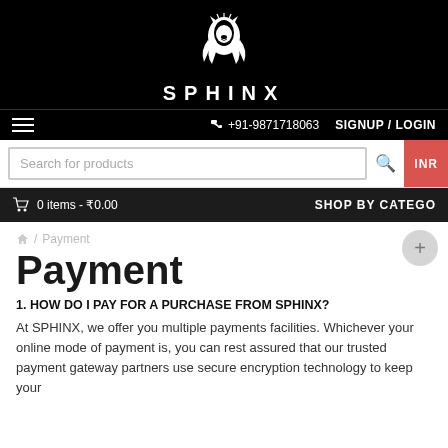[Figure (logo): Sphinx lion head logo in white on black background]
SPHINX
+91-9871718063   SIGNUP / LOGIN
Search for products
0 items - ₹0.00   SHOP BY CATEGORY   INR
/ Payment
Payment
1. HOW DO I PAY FOR A PURCHASE FROM SPHINX?
At SPHINX, we offer you multiple payments facilities. Whichever your online mode of payment is, you can rest assured that our trusted payment gateway partners use secure encryption technology to keep your